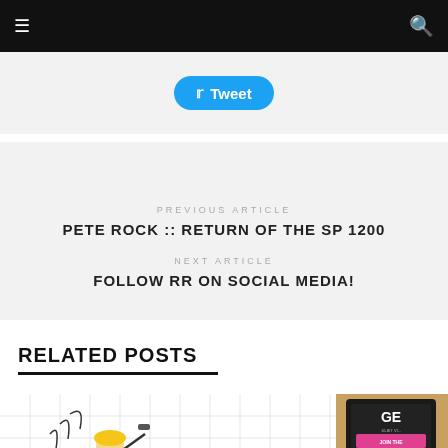≡  [search icon]
Tweet
PREVIOUS ARTICLE
PETE ROCK :: RETURN OF THE SP 1200
NEXT ARTICLE
FOLLOW RR ON SOCIAL MEDIA!
RELATED POSTS
[Figure (illustration): Cartoon character with yellow curly hair holding a mallet on a grid background]
[Figure (photo): Photo showing gaming cartridge with text JOIN THE 16-BIT REVOLUTION and GE logo visible]